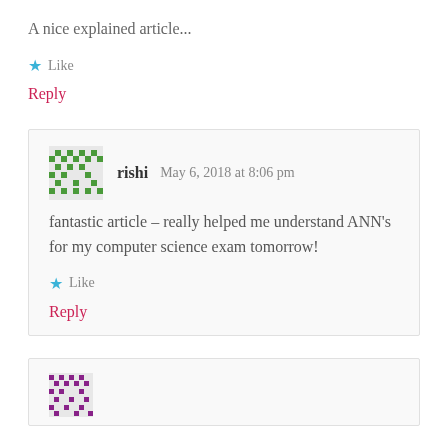A nice explained article...
★ Like
Reply
rishi   May 6, 2018 at 8:06 pm
fantastic article – really helped me understand ANN's for my computer science exam tomorrow!
★ Like
Reply